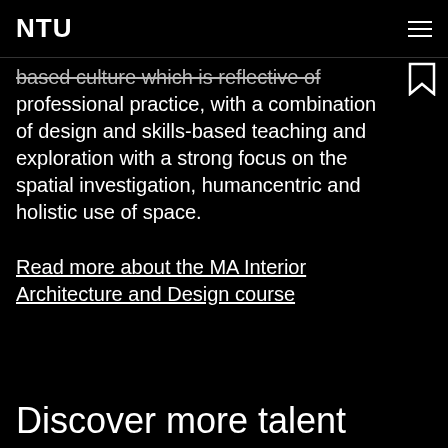NTU
based culture which is reflective of professional practice, with a combination of design and skills-based teaching and exploration with a strong focus on the spatial investigation, humancentric and holistic use of space.
Read more about the MA Interior Architecture and Design course
Discover more talent